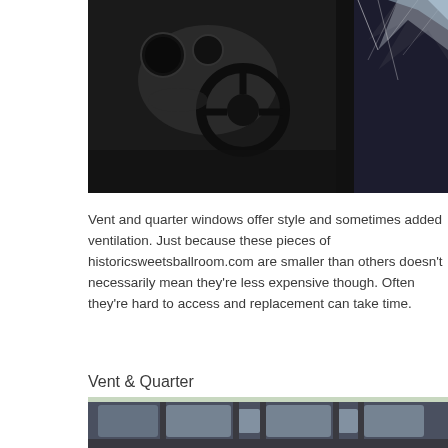[Figure (photo): Close-up photo of a broken car window showing shattered glass, with car interior (steering wheel, dashboard) visible through the broken window.]
Vent and quarter windows offer style and sometimes added ventilation. Just because these pieces of historicsweetsballroom.com are smaller than others doesn't necessarily mean they're less expensive though. Often they're hard to access and replacement can take time.
Vent & Quarter
[Figure (photo): Photo of a dark-colored SUV/station wagon showing side windows including vent and quarter windows.]